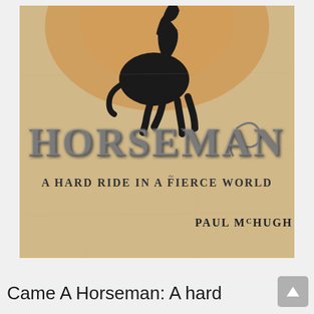[Figure (illustration): Book cover for 'Horseman: A Hard Ride in a Fierce World' by Paul McHugh. Features a black silhouette of a rearing horse against an orange/amber sunburst on a parchment-textured beige background. The title HORSEMAN is displayed in large serif letters with a lasso/rope curling around the N. Subtitle reads 'A Hard Ride in a Fierce World'. Author name 'Paul McHugh' appears in the lower right.]
Came A Horseman: A hard